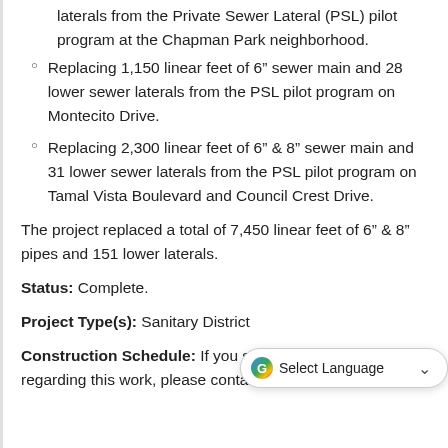laterals from the Private Sewer Lateral (PSL) pilot program at the Chapman Park neighborhood.
Replacing 1,150 linear feet of 6” sewer main and 28 lower sewer laterals from the PSL pilot program on Montecito Drive.
Replacing 2,300 linear feet of 6” & 8” sewer main and 31 lower sewer laterals from the PSL pilot program on Tamal Vista Boulevard and Council Crest Drive.
The project replaced a total of 7,450 linear feet of 6” & 8” pipes and 151 lower laterals.
Status: Complete.
Project Type(s): Sanitary District
Construction Schedule: If you still have questions regarding this work, please contact Chris Good at